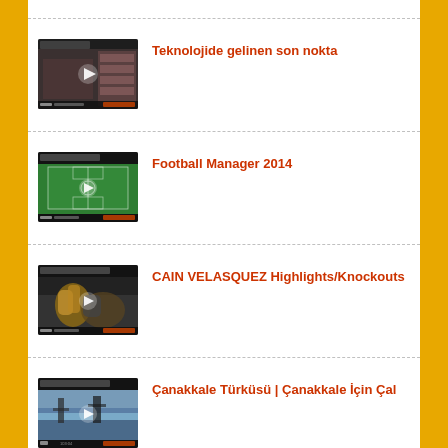[Figure (screenshot): Video thumbnail for Teknolojide gelinen son nokta]
Teknolojide gelinen son nokta
[Figure (screenshot): Video thumbnail for Football Manager 2014]
Football Manager 2014
[Figure (screenshot): Video thumbnail for CAIN VELASQUEZ Highlights/Knockouts]
CAIN VELASQUEZ Highlights/Knockouts
[Figure (screenshot): Video thumbnail for Çanakkale Türküsü | Çanakkale İçin Çal]
Çanakkale Türküsü | Çanakkale İçin Çal